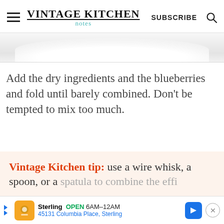VINTAGE KITCHEN  SUBSCRIBE
[Figure (photo): Partial view of a white bowl or plate, cropped, showing a white curved surface against a light background.]
Add the dry ingredients and the blueberries and fold until barely combined. Don't be tempted to mix too much.
Vintage Kitchen tip: use a wire whisk, a spoon, or a [spatula to combine the muffin...]
Sterling  OPEN  6AM–12AM  45131 Columbia Place, Sterling